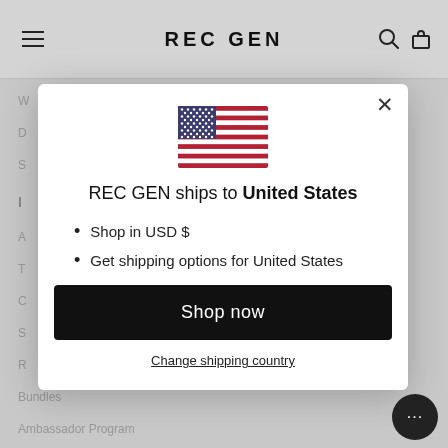REC GEN
[Figure (screenshot): Modal dialog on REC GEN website showing shipping country selection for United States with US flag, bullet points listing USD shop and shipping options, Shop now button, and Change shipping country link]
REC GEN ships to United States
Shop in USD $
Get shipping options for United States
Shop now
Change shipping country